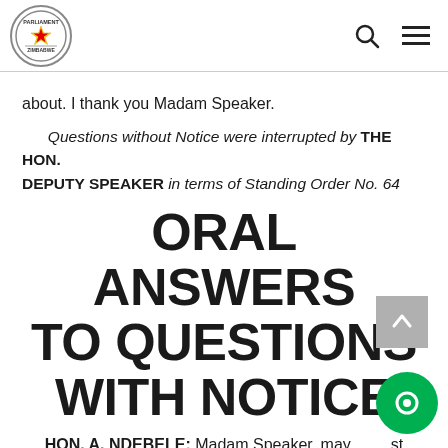Parliament of Zimbabwe logo, search icon, menu icon
about. I thank you Madam Speaker.
Questions without Notice were interrupted by THE HON. DEPUTY SPEAKER in terms of Standing Order No. 64
ORAL ANSWERS TO QUESTIONS WITH NOTICE
HON. A. NDEBELE: Madam Speaker, may I request that the time for Questions without Notice be extended by